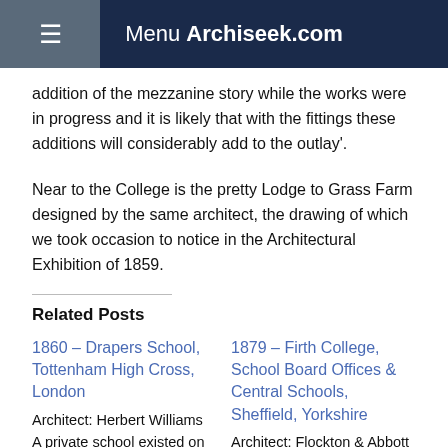Menu Archiseek.com
addition of the mezzanine story while the works were in progress and it is likely that with the fittings these additions will considerably add to the outlay'.
Near to the College is the pretty Lodge to Grass Farm designed by the same architect, the drawing of which we took occasion to notice in the Architectural Exhibition of 1859.
Related Posts
1860 – Drapers School, Tottenham High Cross, London
Architect: Herbert Williams
A private school existed on this site from around 1833, in 1858, this school was taken over by the
In "Architecture of London"
1879 – Firth College, School Board Offices & Central Schools, Sheffield, Yorkshire
Architect: Flockton & Abbott / Edward Robert Robson
Perspective view and ground plan published in The Building News